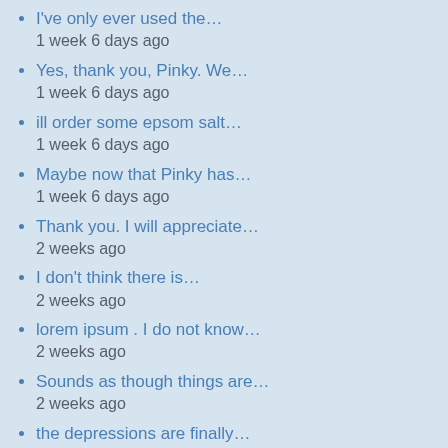I've only ever used the…
1 week 6 days ago
Yes, thank you, Pinky. We…
1 week 6 days ago
ill order some epsom salt…
1 week 6 days ago
Maybe now that Pinky has…
1 week 6 days ago
Thank you. I will appreciate…
2 weeks ago
I don't think there is…
2 weeks ago
lorem ipsum . I do not know…
2 weeks ago
Sounds as though things are…
2 weeks ago
the depressions are finally…
2 weeks ago
i can post again too
2 weeks ago
I was so very sorry to hear…